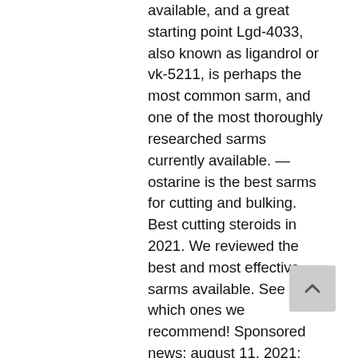available, and a great starting point Lgd-4033, also known as ligandrol or vk-5211, is perhaps the most common sarm, and one of the most thoroughly researched sarms currently available. — ostarine is the best sarms for cutting and bulking. Best cutting steroids in 2021. We reviewed the best and most effective sarms available. See which ones we recommend! Sponsored news; august 11, 2021; 2:05 pm. The best sarms results are mentioned with exception of having no side effects. 1) mk-677 (ibutamoren/nutrobal) for boosting growth hormone · 2) s-23 for weight loss &amp; lean muscle mass. Gw-501516 cardarine · mk-2866 ostarine · lgd-4033 ligandrol · mk-677 nutrabol · rad-140. Brutal force is hands-down, the best sarms supplier on the market at the moment. These guys tick all the relevant boxes, ensuring that your entire experience,. — ostarine mk 2866 is hands down, the most popular sarm in the world. It